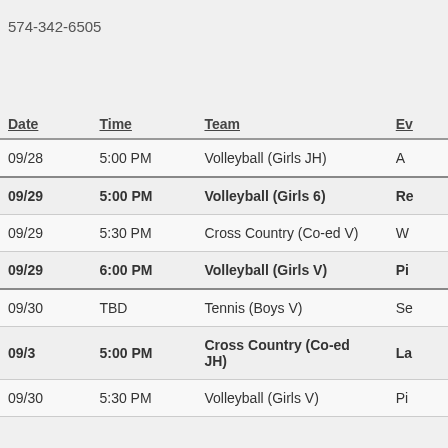574-342-6505
| Date | Time | Team | Ev |
| --- | --- | --- | --- |
| 09/28 | 5:00 PM | Volleyball (Girls JH) | A |
| 09/29 | 5:00 PM | Volleyball (Girls 6) | Re |
| 09/29 | 5:30 PM | Cross Country (Co-ed V) | W |
| 09/29 | 6:00 PM | Volleyball (Girls V) | Pi |
| 09/30 | TBD | Tennis (Boys V) | Se |
| 09/3 | 5:00 PM | Cross Country (Co-ed JH) | La |
| 09/30 | 5:30 PM | Volleyball (Girls V) | Pi |